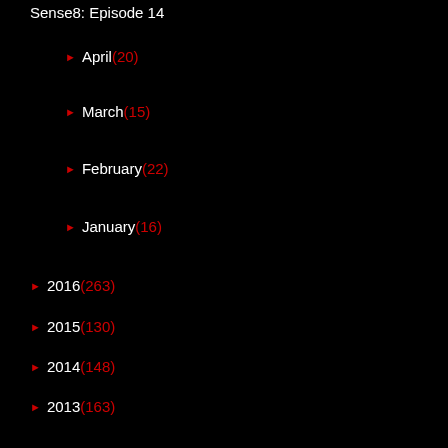Sense8: Episode 14
► April (20)
► March (15)
► February (22)
► January (16)
► 2016 (263)
► 2015 (130)
► 2014 (148)
► 2013 (163)
► 2012 (274)
► 2011 (264)
► 2010 (60)
► 2009 (63)
► 2008 (6)
► 2007 (45)
► 2006 (22)
► 2004 (3)